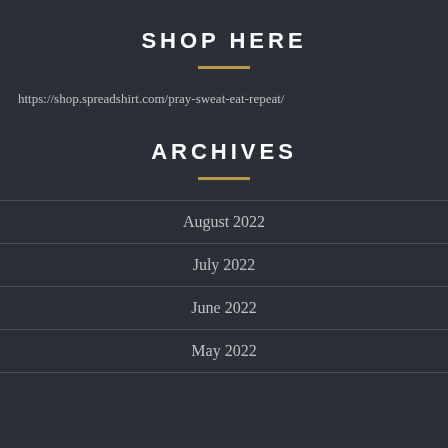SHOP HERE
https://shop.spreadshirt.com/pray-sweat-eat-repeat/
ARCHIVES
August 2022
July 2022
June 2022
May 2022